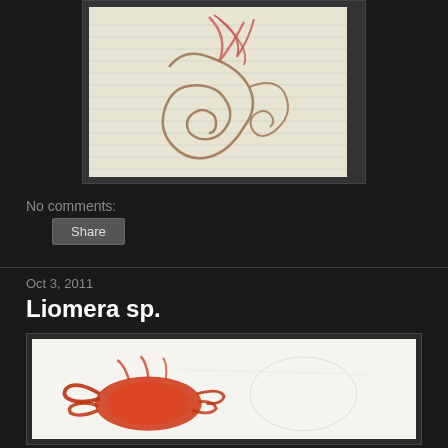[Figure (illustration): Hand-drawn pencil and colored sketch of a creature (possibly a dragon or seahorse-like figure) with brown swirling lines and pink/red strokes on lined paper]
No comments:
Share
Oct 3, 2011
Liomera sp.
[Figure (photo): Photo of a red/orange specimen (likely a crab or crustacean) on white paper with some pencil marks visible]